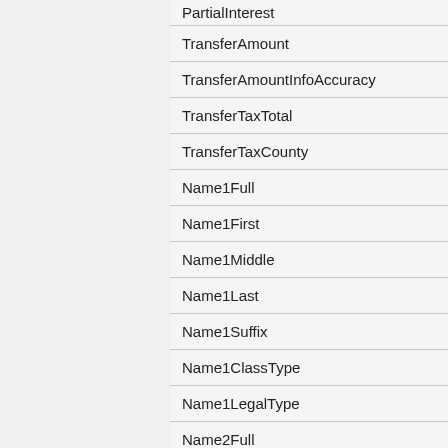| PartialInterest |
| TransferAmount |
| TransferAmountInfoAccuracy |
| TransferTaxTotal |
| TransferTaxCounty |
| Name1Full |
| Name1First |
| Name1Middle |
| Name1Last |
| Name1Suffix |
| Name1ClassType |
| Name1LegalType |
| Name2Full |
| Name2First |
| Name2Middle |
| Name2Last |